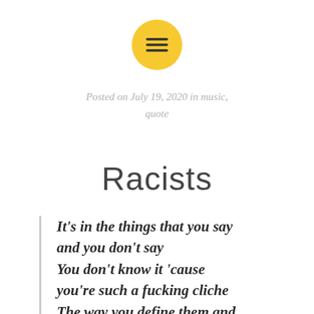[Figure (logo): Yellow circle with centered horizontal lines icon (menu/text icon)]
Posted on July 19, 2020 in music, quote
Racists
It’s in the things that you say and you don’t say You don’t know it ‘cause you’re such a fucking cliche The way you define them and